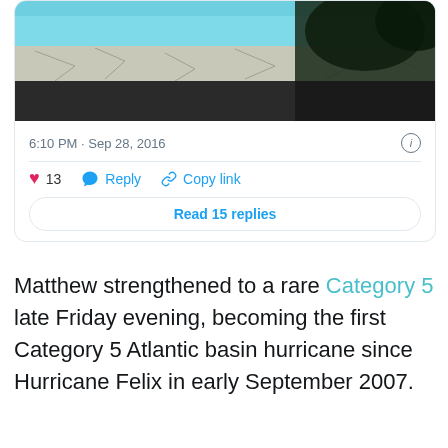[Figure (photo): Partial view of a pool area with stone pavers and dark foliage, bottom portion of a tweet card image]
6:10 PM · Sep 28, 2016
13   Reply   Copy link
Read 15 replies
Matthew strengthened to a rare Category 5 late Friday evening, becoming the first Category 5 Atlantic basin hurricane since Hurricane Felix in early September 2007.